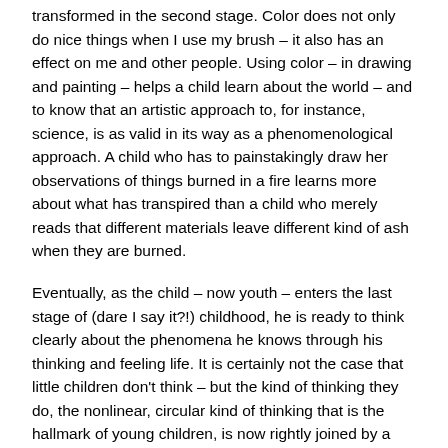transformed in the second stage. Color does not only do nice things when I use my brush – it also has an effect on me and other people. Using color – in drawing and painting – helps a child learn about the world – and to know that an artistic approach to, for instance, science, is as valid in its way as a phenomenological approach. A child who has to painstakingly draw her observations of things burned in a fire learns more about what has transpired than a child who merely reads that different materials leave different kind of ash when they are burned.
Eventually, as the child – now youth – enters the last stage of (dare I say it?!) childhood, he is ready to think clearly about the phenomena he knows through his thinking and feeling life. It is certainly not the case that little children don't think – but the kind of thinking they do, the nonlinear, circular kind of thinking that is the hallmark of young children, is now rightly joined by a new capacity, linear, logical thinking.
Unfortunately, in our society, this is the only kind of